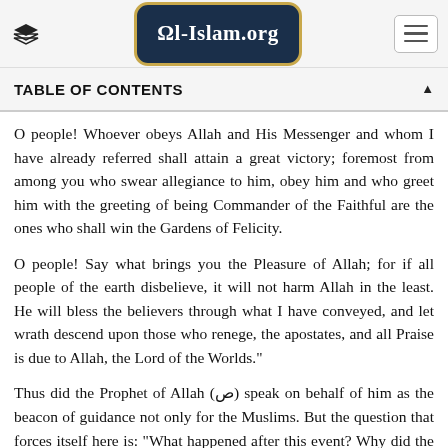Al-Islam.org
TABLE OF CONTENTS
O people! Whoever obeys Allah and His Messenger and whom I have already referred shall attain a great victory; foremost from among you who swear allegiance to him, obey him and who greet him with the greeting of being Commander of the Faithful are the ones who shall win the Gardens of Felicity.
O people! Say what brings you the Pleasure of Allah, for if all people of the earth disbelieve, it will not harm Allah in the least. Allah will bless the believers through what I have conveyed, and let His wrath descend upon those who renege, the apostates, and all Praise is due to Allah, the Lord of the Worlds."
Thus did the Prophet of Allah (ص) speak on behalf of Ali and declared him as the beacon of guidance not only for the Muslims of his time. But the question that forces itself here is: "What happened after this event? Why did the Muslims forget, or pretend to forget, the Prophet's instructions with regards to Ali and support...